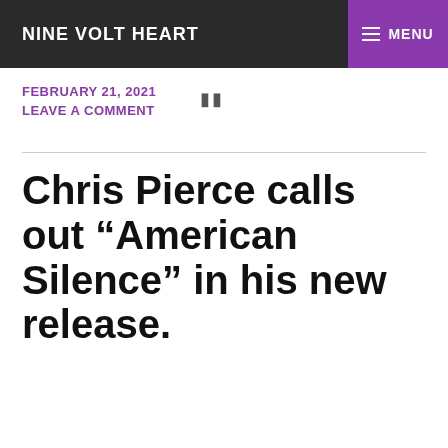NINE VOLT HEART
FEBRUARY 21, 2021
LEAVE A COMMENT
Chris Pierce calls out “American Silence” in his new release.